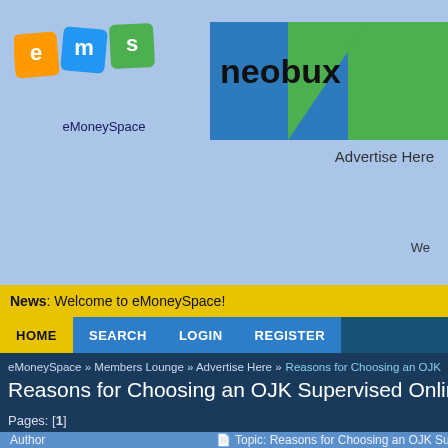[Figure (logo): eMoneySpace logo with colored diamond shapes (orange e, blue m, green s) and text 'eMoneySpace' below]
[Figure (logo): Neobux advertisement banner with blue/green background and bold 'neobux' text]
Advertise Here
We
News: Welcome to eMoneySpace!
HOME  SEARCH  LOGIN  REGISTER
eMoneySpace » Members Lounge » Advertise Here » Reasons for Choosing an OJK
Reasons for Choosing an OJK Supervised Online Loan
Pages: [1]
| Author | Topic: Reasons for Choosing an OJK Supervised O... |
| --- | --- |
| kingbacklink
Reputation: (0)
EMS NEWCOMER
Offline | Reasons for Choosing an OJK Supervised O...
Aug 09, 2021 06:11 pm
OJK stands for (Financial Services Authority) https... itself has a very important role in lending, investing, namely as a monitor to regulate the registered finto... |